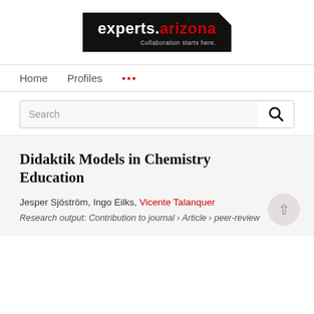[Figure (logo): experts.arizona logo — black background, white text 'experts.' and red '.arizona', tagline 'Collaboration starts here.' in grey]
Home   Profiles   ...
Search
Didaktik Models in Chemistry Education
Jesper Sjöström, Ingo Eilks, Vicente Talanquer
Research output: Contribution to journal › Article › peer-review